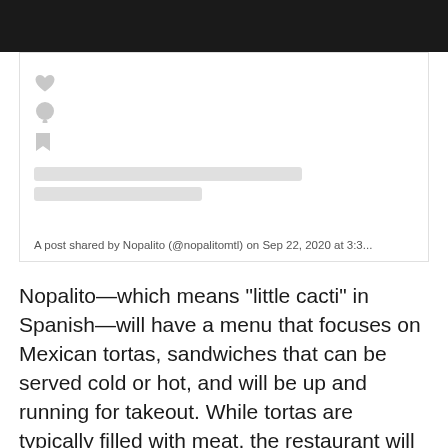[Figure (screenshot): Instagram post embed placeholder with heart, comment, and bookmark icons, two skeleton loading bars, and caption text 'A post shared by Nopalito (@nopalitomtl) on Sep 22, 2020 at 3:3...']
A post shared by Nopalito (@nopalitomtl) on Sep 22, 2020 at 3:3...
Nopalito—which means "little cacti" in Spanish—will have a menu that focuses on Mexican tortas, sandwiches that can be served cold or hot, and will be up and running for takeout. While tortas are typically filled with meat, the restaurant will be following in the footsteps of the vegan chef's runaway sushi spot Sushi Momo (one of the spots